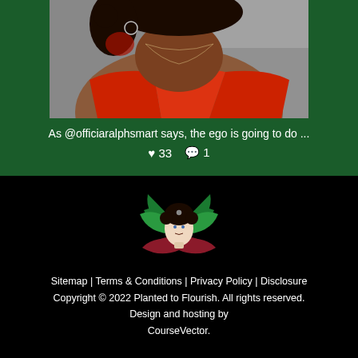[Figure (photo): Partial photo of a woman wearing a red top and thin necklace, cropped to show neck and upper chest area against an outdoor background]
As @officiaralphsmart says, the ego is going to do ...
♥ 33  💬 1
[Figure (logo): Planted to Flourish logo: stylized woman with afro hair surrounded by green and dark red lotus flower petals]
Sitemap | Terms & Conditions | Privacy Policy | Disclosure Copyright © 2022 Planted to Flourish. All rights reserved. Design and hosting by CourseVector.